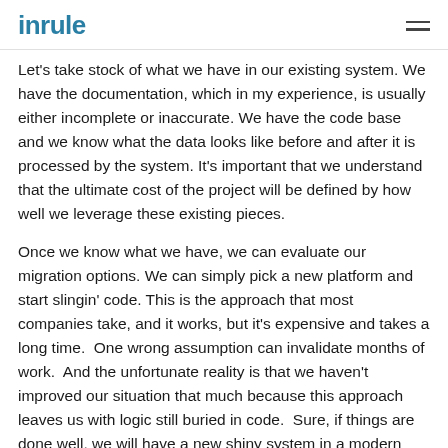inrule
Let's take stock of what we have in our existing system. We have the documentation, which in my experience, is usually either incomplete or inaccurate. We have the code base and we know what the data looks like before and after it is processed by the system. It's important that we understand that the ultimate cost of the project will be defined by how well we leverage these existing pieces.
Once we know what we have, we can evaluate our migration options. We can simply pick a new platform and start slingin' code. This is the approach that most companies take, and it works, but it's expensive and takes a long time.  One wrong assumption can invalidate months of work.  And the unfortunate reality is that we haven't improved our situation that much because this approach leaves us with logic still buried in code.  Sure, if things are done well, we will have a new shiny system in a modern platform and a bigger talent pool of individuals we can hire to maintain it. The system